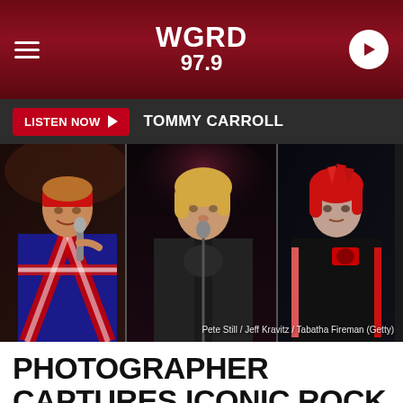WGRD 97.9
LISTEN NOW  TOMMY CARROLL
[Figure (photo): Three rock musicians performing on stage: left panel shows Axl Rose in Union Jack jacket with microphone; center panel shows Kurt Cobain with guitar and microphone; right panel shows Gerard Way with bright red hair in black jacket. Credit: Pete Still / Jeff Kravitz / Tabatha Fireman (Getty)]
PHOTOGRAPHER CAPTURES ICONIC ROCK IMAGES IN THEIR